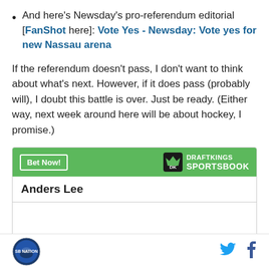And here's Newsday's pro-referendum editorial [FanShot here]: Vote Yes - Newsday: Vote yes for new Nassau arena
If the referendum doesn't pass, I don't want to think about what's next. However, if it does pass (probably will), I doubt this battle is over. Just be ready. (Either way, next week around here will be about hockey, I promise.)
| Anders Lee |
|  |
SB Nation logo | Twitter icon | Facebook icon